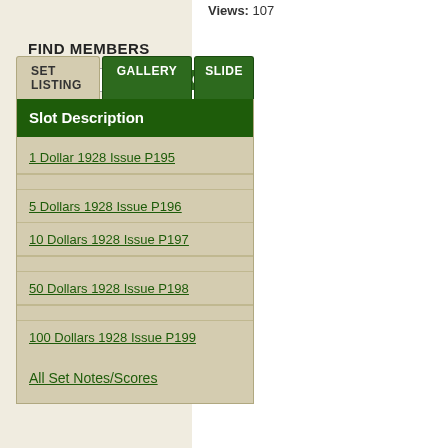Views: 107
FIND MEMBERS
GO (search input)
| Slot Description |
| --- |
| 1 Dollar 1928 Issue P195 |
| 5 Dollars 1928 Issue P196 |
| 10 Dollars 1928 Issue P197 |
| 50 Dollars 1928 Issue P198 |
| 100 Dollars 1928 Issue P199 |
All Set Notes/Scores